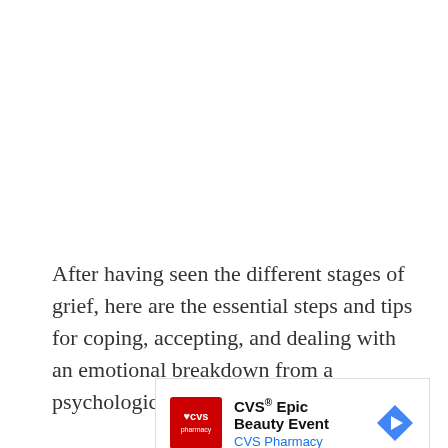After having seen the different stages of grief, here are the essential steps and tips for coping, accepting, and dealing with an emotional breakdown from a psychological point of view:
[Figure (other): Advertisement for CVS Epic Beauty Event by CVS Pharmacy, showing CVS pharmacy logo in red, ad title, and a navigation arrow icon]